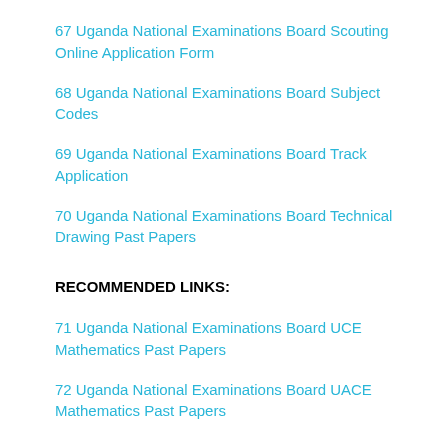67 Uganda National Examinations Board Scouting Online Application Form
68 Uganda National Examinations Board Subject Codes
69 Uganda National Examinations Board Track Application
70 Uganda National Examinations Board Technical Drawing Past Papers
RECOMMENDED LINKS:
71 Uganda National Examinations Board UCE Mathematics Past Papers
72 Uganda National Examinations Board UACE Mathematics Past Papers